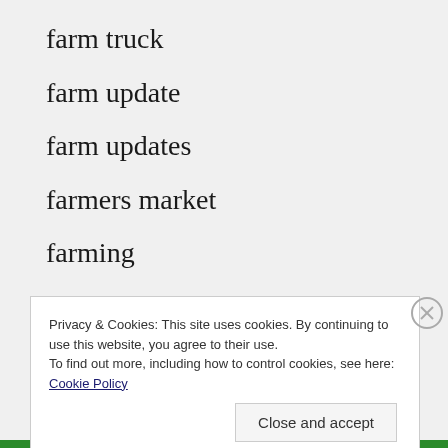farm truck
farm update
farm updates
farmers market
farming
flowers
food
Privacy & Cookies: This site uses cookies. By continuing to use this website, you agree to their use.
To find out more, including how to control cookies, see here: Cookie Policy
Close and accept